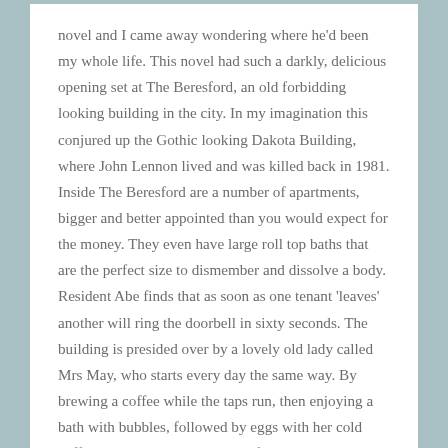novel and I came away wondering where he'd been my whole life. This novel had such a darkly, delicious opening set at The Beresford, an old forbidding looking building in the city. In my imagination this conjured up the Gothic looking Dakota Building, where John Lennon lived and was killed back in 1981. Inside The Beresford are a number of apartments, bigger and better appointed than you would expect for the money. They even have large roll top baths that are the perfect size to dismember and dissolve a body. Resident Abe finds that as soon as one tenant 'leaves' another will ring the doorbell in sixty seconds. The building is presided over by a lovely old lady called Mrs May, who starts every day the same way. By brewing a coffee while the taps run, then enjoying a bath with bubbles, followed by eggs with her cold coffee. She has a routine, and is found at the same time every day pruning the roses in the front